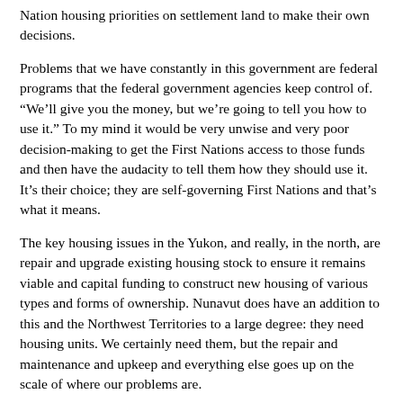Nation housing priorities on settlement land to make their own decisions.
Problems that we have constantly in this government are federal programs that the federal government agencies keep control of. “We’ll give you the money, but we’re going to tell you how to use it.” To my mind it would be very unwise and very poor decision-making to get the First Nations access to those funds and then have the audacity to tell them how they should use it. It’s their choice; they are self-governing First Nations and that’s what it means.
The key housing issues in the Yukon, and really, in the north, are repair and upgrade existing housing stock to ensure it remains viable and capital funding to construct new housing of various types and forms of ownership. Nunavut does have an addition to this and the Northwest Territories to a large degree: they need housing units. We certainly need them, but the repair and maintenance and upkeep and everything else goes up on the scale of where our problems are.
If we start looking at some of the concerns and some of the things that are involved in this whole thing, we look at that whole problem in general — again, I’m bringing them back to the motion and why I have a problem with going to communities and pulling this motion away from First Nations.